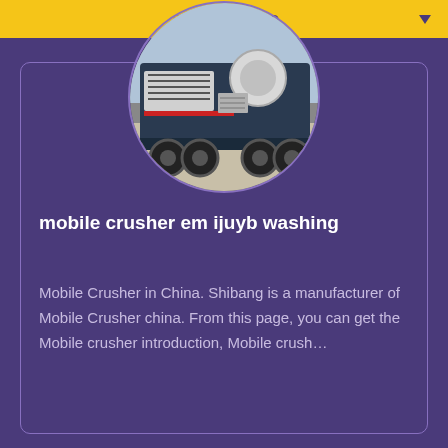All Type
[Figure (photo): Circular cropped photo of a mobile crusher machine — a heavy industrial vehicle with large tires, dark blue/grey body, ventilation grilles, and a red stripe, photographed outdoors.]
mobile crusher em ijuyb washing
Mobile Crusher in China. Shibang is a manufacturer of Mobile Crusher china. From this page, you can get the Mobile crusher introduction, Mobile crush…